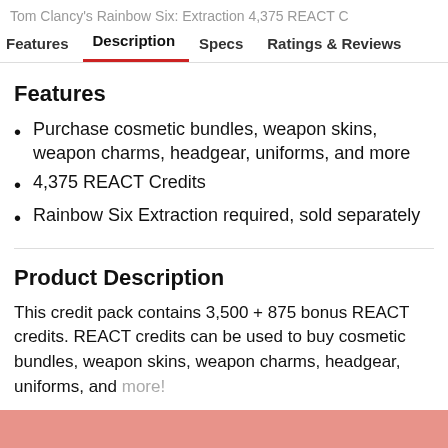Tom Clancy's Rainbow Six: Extraction 4,375 REACT C
Features   Description   Specs   Ratings & Reviews
Features
Purchase cosmetic bundles, weapon skins, weapon charms, headgear, uniforms, and more
4,375 REACT Credits
Rainbow Six Extraction required, sold separately
Product Description
This credit pack contains 3,500 + 875 bonus REACT credits. REACT credits can be used to buy cosmetic bundles, weapon skins, weapon charms, headgear, uniforms, and more!